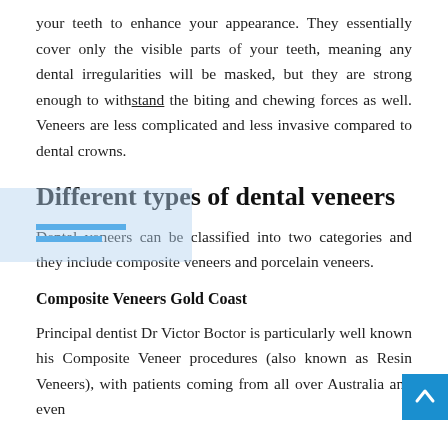your teeth to enhance your appearance. They essentially cover only the visible parts of your teeth, meaning any dental irregularities will be masked, but they are strong enough to withstand the biting and chewing forces as well. Veneers are less complicated and less invasive compared to dental crowns.
Different types of dental veneers
Dental veneers can be classified into two categories and they include composite veneers and porcelain veneers.
Composite Veneers Gold Coast
Principal dentist Dr Victor Boctor is particularly well known his Composite Veneer procedures (also known as Resin Veneers), with patients coming from all over Australia and even